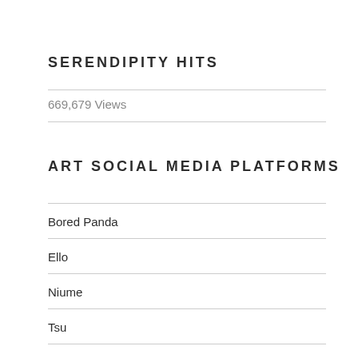SERENDIPITY HITS
669,679 Views
ART SOCIAL MEDIA PLATFORMS
Bored Panda
Ello
Niume
Tsu